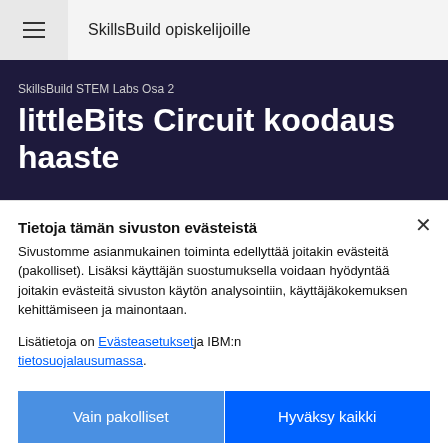SkillsBuild opiskelijoille
SkillsBuild STEM Labs Osa 2
littleBits Circuit koodaus haaste
Tietoja tämän sivuston evästeistä
Sivustomme asianmukainen toiminta edellyttää joitakin evästeitä (pakolliset). Lisäksi käyttäjän suostumuksella voidaan hyödyntää joitakin evästeitä sivuston käytön analysointiin, käyttäjäkokemuksen kehittämiseen ja mainontaan.
Lisätietoja on Evästeasetuksista ja IBM:n tietosuojalausumassa.
Vain pakolliset
Hyväksy kaikki